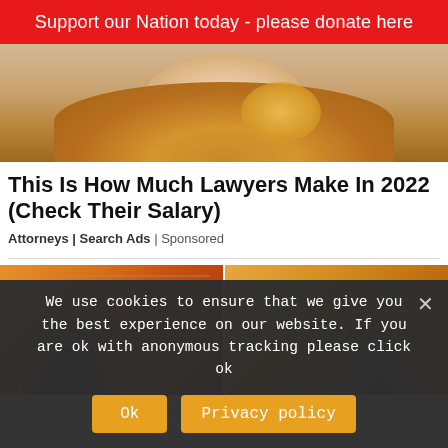Support our Nation today - please donate here
[Figure (photo): Partial photo of a woman with blonde/auburn wavy hair, cropped to show only hair and chin area]
This Is How Much Lawyers Make In 2022 (Check Their Salary)
Attorneys | Search Ads | Sponsored
[Figure (photo): Two side-by-side photos showing people near brick walls and wooden doors, heads visible from behind]
We use cookies to ensure that we give you the best experience on our website. If you are ok with anonymous tracking please click ok
Ok
Privacy policy